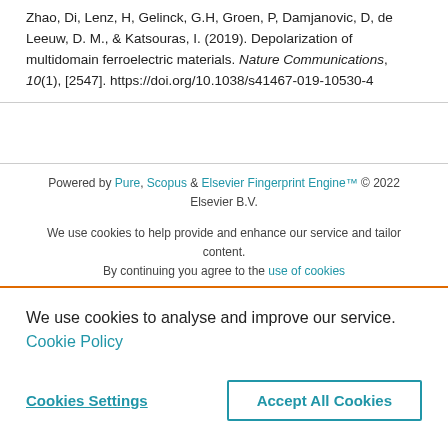Zhao, Di, Lenz, H, Gelinck, G.H, Groen, P, Damjanovic, D, de Leeuw, D. M., & Katsouras, I. (2019). Depolarization of multidomain ferroelectric materials. Nature Communications, 10(1), [2547]. https://doi.org/10.1038/s41467-019-10530-4
Powered by Pure, Scopus & Elsevier Fingerprint Engine™ © 2022 Elsevier B.V.
We use cookies to help provide and enhance our service and tailor content. By continuing you agree to the use of cookies
We use cookies to analyse and improve our service. Cookie Policy
Cookies Settings  Accept All Cookies